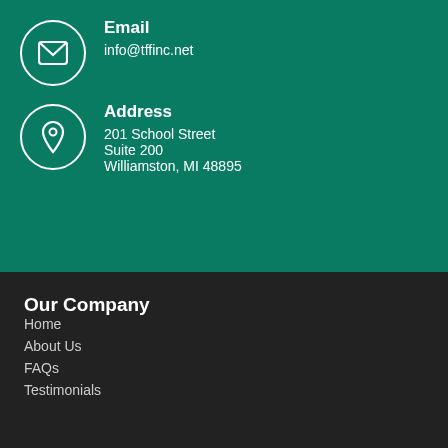Email
info@tffinc.net
Address
201 School Street
Suite 200
Williamston, MI 48895
Our Company
Home
About Us
FAQs
Testimonials